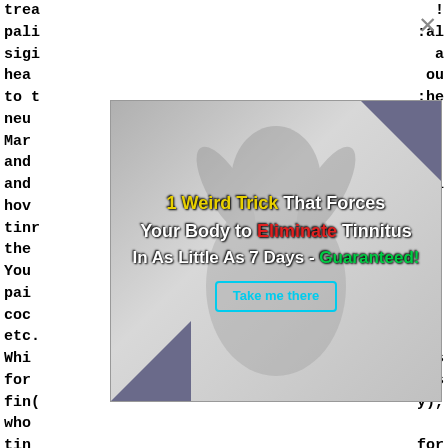trea
pali
sigi
hea
to t
neu
Mar
and
and
hov
tinn
the
You
pai
coc
etc.
Whi
for
fin(
who
tinn
the
pro
tinn
Whil
!
al
a
ou
he

ss,

l




ig,



ts
is
y),

for
he
[Figure (infographic): Advertisement overlay showing a woman covering her ears with both hands in distress, with decorative triangles in corners. Text reads: '1 Weird Trick That Forces Your Body to Eliminate Tinnitus In As Little As 7 Days - Guaranteed!' with a 'Take me there' button. A close/dismiss X button is shown in the upper right of the overlay area.]